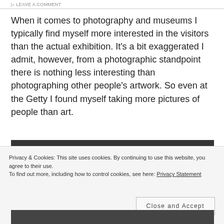LEAVE A COMMENT
When it comes to photography and museums I typically find myself more interested in the visitors than the actual exhibition. It's a bit exaggerated I admit, however, from a photographic standpoint there is nothing less interesting than photographing other people's artwork. So even at the Getty I found myself taking more pictures of people than art.
[Figure (photo): Black and white photograph strip showing museum visitors, partially visible at top]
Privacy & Cookies: This site uses cookies. By continuing to use this website, you agree to their use.
To find out more, including how to control cookies, see here: Privacy Statement
Close and Accept
[Figure (photo): Black and white photograph strip showing outdoor scene, partially visible at bottom]